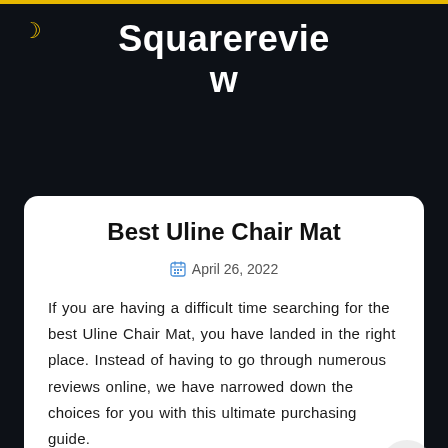Squarereview
Best Uline Chair Mat
April 26, 2022
If you are having a difficult time searching for the best Uline Chair Mat, you have landed in the right place. Instead of having to go through numerous reviews online, we have narrowed down the choices for you with this ultimate purchasing guide.